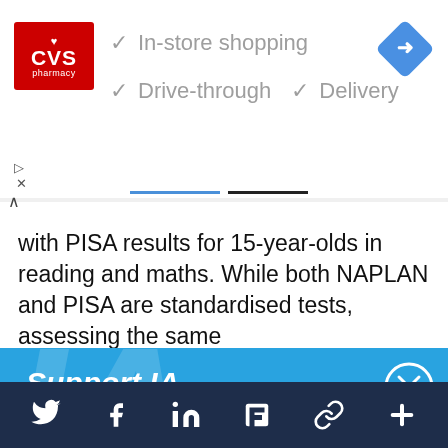[Figure (screenshot): CVS Pharmacy advertisement banner with checkmarks for In-store shopping, Drive-through, and Delivery options, plus a navigation arrow icon]
with PISA results for 15-year-olds in reading and maths. While both NAPLAN and PISA are standardised tests, assessing the same
Support IA
Subscribe to IA and investigate Australia today.
[Figure (screenshot): Blue support panel with Close, Subscribe, and Donate buttons]
Social media icons: Twitter, Facebook, LinkedIn, Flipboard, link, plus